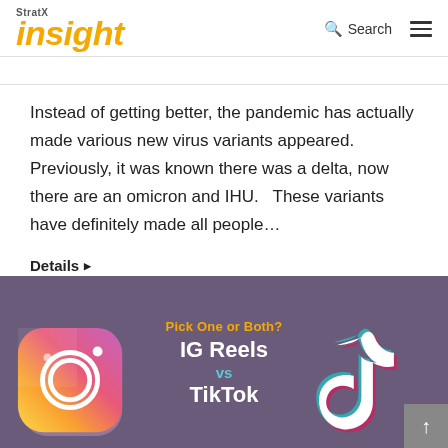StratX insight
Instead of getting better, the pandemic has actually made various new virus variants appeared. Previously, it was known there was a delta, now there are an omicron and IHU.   These variants have definitely made all people…
Details ▶
[Figure (illustration): Banner with purple background showing Instagram and TikTok logos. Center text reads: 'Pick One or Both? IG Reels vs TikTok']